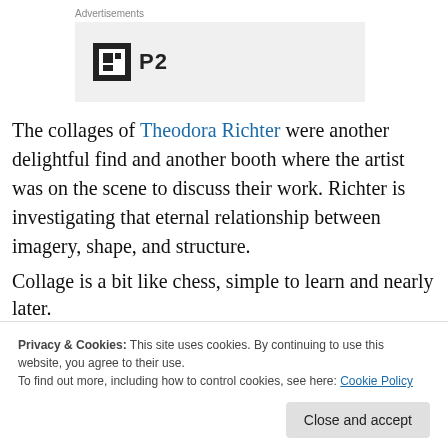Advertisements
[Figure (logo): P2 logo advertisement on gray background]
The collages of Theodora Richter were another delightful find and another booth where the artist was on the scene to discuss their work. Richter is investigating that eternal relationship between imagery, shape, and structure.
Collage is a bit like chess, simple to learn and nearly...
Privacy & Cookies: This site uses cookies. By continuing to use this website, you agree to their use. To find out more, including how to control cookies, see here: Cookie Policy
later.